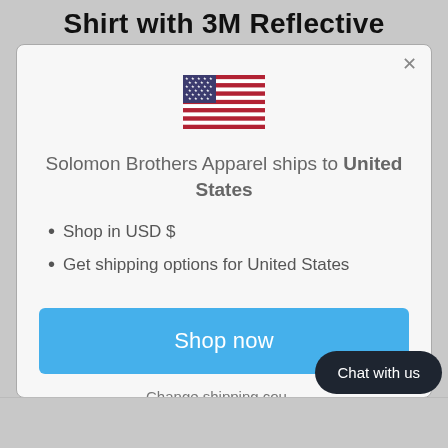Shirt with 3M Reflective
[Figure (illustration): US flag emoji / icon]
Solomon Brothers Apparel ships to United States
Shop in USD $
Get shipping options for United States
Shop now
Change shipping cou...
Chat with us